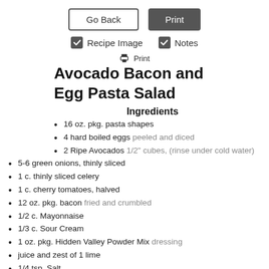Go Back | Print
✓ Recipe Image  ✓ Notes
🖨 Print
Avocado Bacon and Egg Pasta Salad
Ingredients
16 oz. pkg. pasta shapes
4 hard boiled eggs peeled and diced
2 Ripe Avocados 1/2" cubes, (rinse under cold water)
5-6 green onions, thinly sliced
1 c. thinly sliced celery
1 c. cherry tomatoes, halved
12 oz. pkg. bacon fried and crumbled
1/2 c. Mayonnaise
1/3 c. Sour Cream
1 oz. pkg. Hidden Valley Powder Mix dressing
juice and zest of 1 lime
1/4 tsp. Salt
1/4 tsp. black pepper